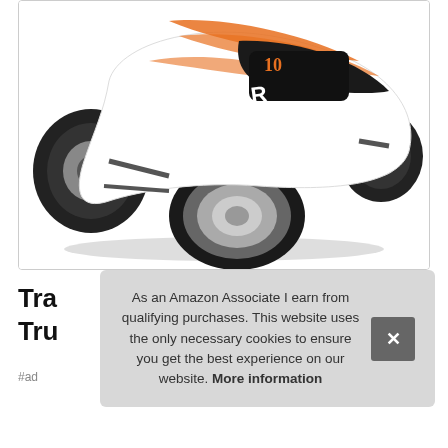[Figure (photo): RC car - Traxxas Rustler with orange and black body, large off-road tires, chrome wheels, viewed from front-left angle]
Tra
Tru
As an Amazon Associate I earn from qualifying purchases. This website uses the only necessary cookies to ensure you get the best experience on our website. More information
#ad